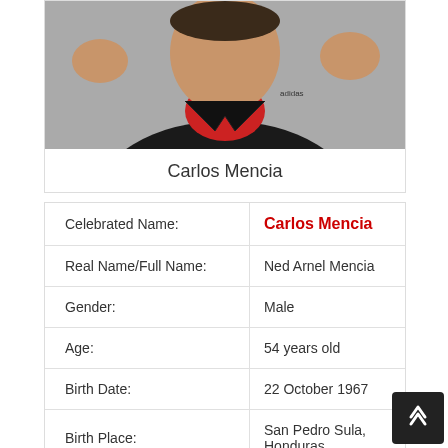[Figure (photo): Photo of Carlos Mencia wearing a black Adidas jacket over a red shirt, raising both hands]
Carlos Mencia
| Field | Value |
| --- | --- |
| Celebrated Name: | Carlos Mencia |
| Real Name/Full Name: | Ned Arnel Mencia |
| Gender: | Male |
| Age: | 54 years old |
| Birth Date: | 22 October 1967 |
| Birth Place: | San Pedro Sula, Honduras |
| Nationality: | American, Honduran |